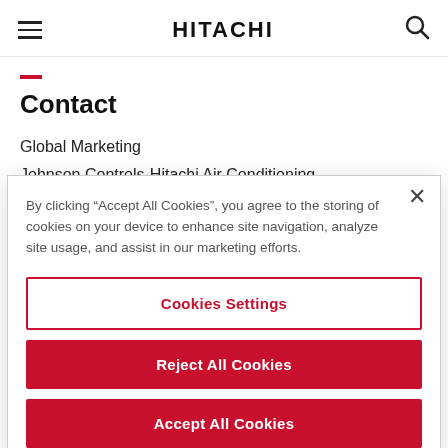HITACHI
Contact
Global Marketing
Johnson Controls-Hitachi Air Conditioning
[Figure (screenshot): Cookie consent modal dialog with close button, cookie settings, reject all cookies, and accept all cookies buttons]
By clicking “Accept All Cookies”, you agree to the storing of cookies on your device to enhance site navigation, analyze site usage, and assist in our marketing efforts.
Cookies Settings
Reject All Cookies
Accept All Cookies